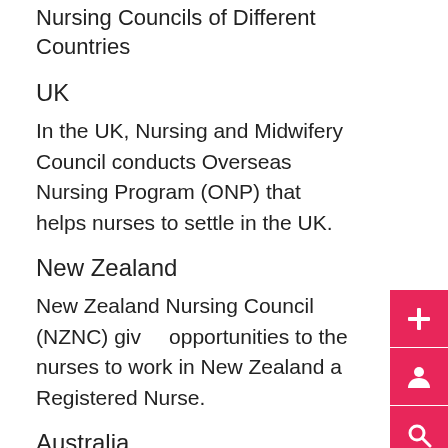Nursing Councils of Different Countries
UK
In the UK, Nursing and Midwifery Council conducts Overseas Nursing Program (ONP) that helps nurses to settle in the UK.
New Zealand
New Zealand Nursing Council (NZNC) gives opportunities to the nurses to work in New Zealand a Registered Nurse.
Australia
You can work as a registered nurse after obtaining the Australian Health Practitioner Regulation Agency (AHPRA) registration...